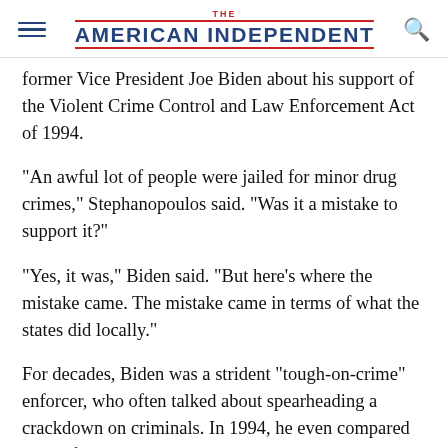THE AMERICAN INDEPENDENT
former Vice President Joe Biden about his support of the Violent Crime Control and Law Enforcement Act of 1994.
"An awful lot of people were jailed for minor drug crimes," Stephanopoulos said. "Was it a mistake to support it?"
"Yes, it was," Biden said. "But here's where the mistake came. The mistake came in terms of what the states did locally."
For decades, Biden was a strident "tough-on-crime" enforcer, who often talked about spearheading a crackdown on criminals. In 1994, he even compared himself to Richard Nixon. "Every time Richard Nixon, when he was running in 1972, would say 'law and order,' the Democratic match or response was 'law and order with justice'—whatever that